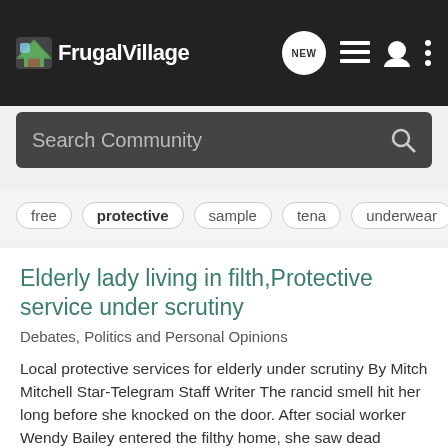FrugalVillage
Search Community
free
protective
sample
tena
underwear
Elderly lady living in filth,Protective service under scrutiny
Debates, Politics and Personal Opinions
Local protective services for elderly under scrutiny By Mitch Mitchell Star-Telegram Staff Writer The rancid smell hit her long before she knocked on the door. After social worker Wendy Bailey entered the filthy home, she saw dead roaches fall from the elderly resident's matted hair...
6   363
COUNTRYBUMPKIN · Dec 10, 2004